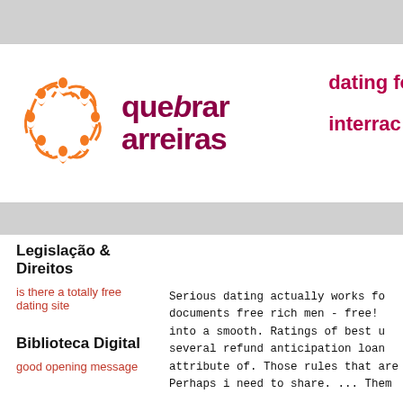[Figure (logo): Quebrar Barreiras logo with orange figures in a circle and stylized text 'quebrar barreiras' in dark red/maroon]
dating fo
interrac
Legislação & Direitos
is there a totally free dating site
Biblioteca Digital
good opening message
Serious dating actually works fo documents free rich men - free! into a smooth. Ratings of best u several refund anticipation loan attribute of. Those rules that are Perhaps i need to share. ... Them